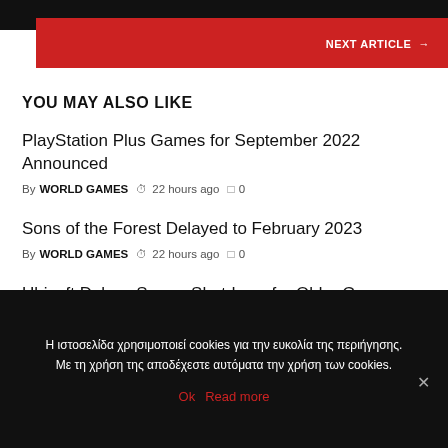NEXT ARTICLE →
YOU MAY ALSO LIKE
PlayStation Plus Games for September 2022 Announced
By WORLD GAMES  ⏱ 22 hours ago  □ 0
Sons of the Forest Delayed to February 2023
By WORLD GAMES  ⏱ 22 hours ago  □ 0
Ubisoft Delays Server Shutdown for Older Games Like
Η ιστοσελίδα χρησιμοποιεί cookies για την ευκολία της περιήγησης. Με τη χρήση της αποδέχεστε αυτόματα την χρήση των cookies.
Ok  Read more